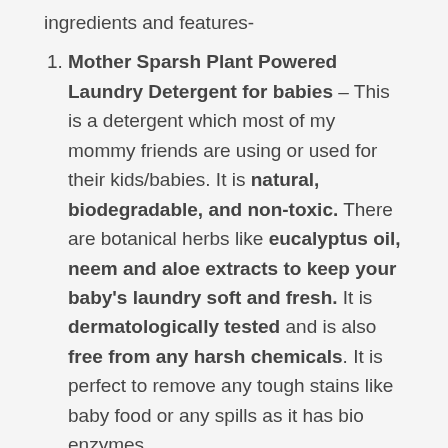ingredients and features-
Mother Sparsh Plant Powered Laundry Detergent for babies – This is a detergent which most of my mommy friends are using or used for their kids/babies. It is natural, biodegradable, and non-toxic. There are botanical herbs like eucalyptus oil, neem and aloe extracts to keep your baby's laundry soft and fresh. It is dermatologically tested and is also free from any harsh chemicals. It is perfect to remove any tough stains like baby food or any spills as it has bio enzymes.
The best part is that it is gentle for a baby's gentle skin as it has plant products. As a mom, I am sure you look for many different products before choosing the right one for your baby. So, Mother Sparsh Plant Powered Laundry